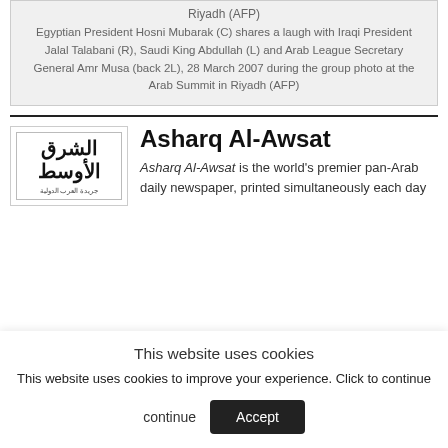Riyadh (AFP)
Egyptian President Hosni Mubarak (C) shares a laugh with Iraqi President Jalal Talabani (R), Saudi King Abdullah (L) and Arab League Secretary General Amr Musa (back 2L), 28 March 2007 during the group photo at the Arab Summit in Riyadh (AFP)
[Figure (logo): Asharq Al-Awsat newspaper logo with Arabic text]
Asharq Al-Awsat
Asharq Al-Awsat is the world's premier pan-Arab daily newspaper, printed simultaneously each day
This website uses cookies
This website uses cookies to improve your experience. Click to continue
Accept